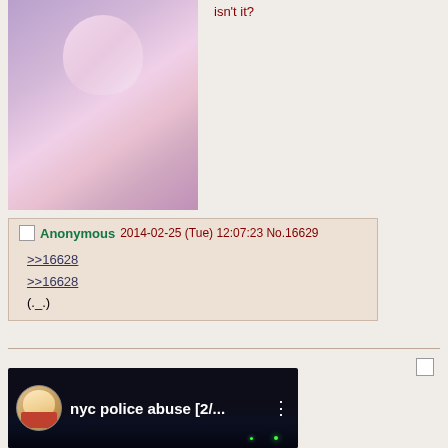[Figure (illustration): Anime-style illustration of a girl in purple dress with white hair]
isn't it?
Anonymous 2014-02-25 (Tue) 12:07:23 No.16629
>>16628
>>16628
(._.)
[Figure (screenshot): YouTube video thumbnail showing 'nyc police abuse [2/...' with a child avatar and city night scene]